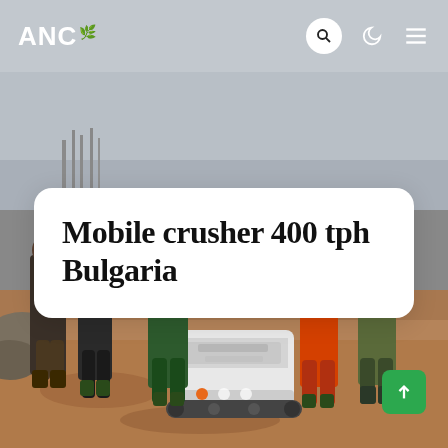ANC
[Figure (photo): Construction site photo showing several workers standing in front of a white mobile crusher machine on sandy/dirt ground. Overcast sky visible in background.]
Mobile crusher 400 tph Bulgaria